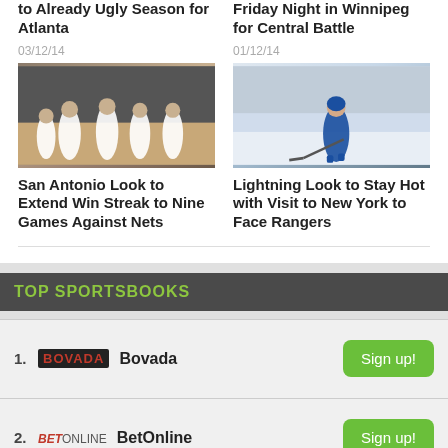to Already Ugly Season for Atlanta
Friday Night in Winnipeg for Central Battle
03/12/14
01/12/14
[Figure (photo): Basketball players in white uniforms on a court]
[Figure (photo): Hockey player in blue uniform with stick on ice]
San Antonio Look to Extend Win Streak to Nine Games Against Nets
Lightning Look to Stay Hot with Visit to New York to Face Rangers
TOP SPORTSBOOKS
1. Bovada Sign up!
2. BetOnline Sign up!